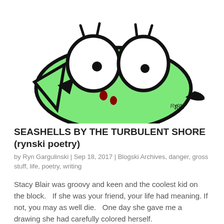[Figure (illustration): Cartoon illustration of a bug-eyed green creature (frog or alien-like character) with two large round eyes with eyelashes, a triangular beak/mouth with dark red markings, and a green oval body. A signature 'Ryn' appears in the lower right of the illustration.]
SEASHELLS BY THE TURBULENT SHORE (rynski poetry)
by Ryn Gargulinski | Sep 18, 2017 | Blogski Archives, danger, gross stuff, life, poetry, writing
Stacy Blair was groovy and keen and the coolest kid on the block.   If she was your friend, your life had meaning. If not, you may as well die.   One day she gave me a drawing she had carefully colored herself.